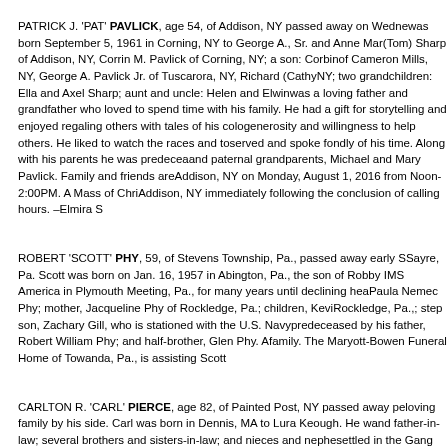PATRICK J. 'PAT' PAVLICK, age 54, of Addison, NY passed away on Wednesday... was born September 5, 1961 in Corning, NY to George A., Sr. and Anne Mar... (Tom) Sharp of Addison, NY, Corrin M. Pavlick of Corning, NY; a son: Corbin... of Cameron Mills, NY, George A. Pavlick Jr. of Tuscarora, NY, Richard (Cathy)... NY; two grandchildren: Ella and Axel Sharp; aunt and uncle: Helen and Elwin... was a loving father and grandfather who loved to spend time with his family. He had a gift for storytelling and enjoyed regaling others with tales of his colo... generosity and willingness to help others. He liked to watch the races and to... served and spoke fondly of his time. Along with his parents he was predeceas... and paternal grandparents, Michael and Mary Pavlick. Family and friends are... Addison, NY on Monday, August 1, 2016 from Noon-2:00PM. A Mass of Chri... Addison, NY immediately following the conclusion of calling hours. –Elmira S...
ROBERT 'SCOTT' PHY, 59, of Stevens Township, Pa., passed away early S... Sayre, Pa. Scott was born on Jan. 16, 1957 in Abington, Pa., the son of Rob... by IMS America in Plymouth Meeting, Pa., for many years until declining hea... Paula Nemec Phy; mother, Jacqueline Phy of Rockledge, Pa.; children, Kevi... Rockledge, Pa.,; step son, Zachary Gill, who is stationed with the U.S. Navy... predeceased by his father, Robert William Phy; and half-brother, Glen Phy. A... family. The Maryott-Bowen Funeral Home of Towanda, Pa., is assisting Scott...
CARLTON R. 'CARL' PIERCE, age 82, of Painted Post, NY passed away pe... loving family by his side. Carl was born in Dennis, MA to Lura Keough. He w... and father-in-law; several brothers and sisters-in-law; and nieces and nephe... settled in the Gang Mills area after marrying Doris D. Dixon with whom he ha...